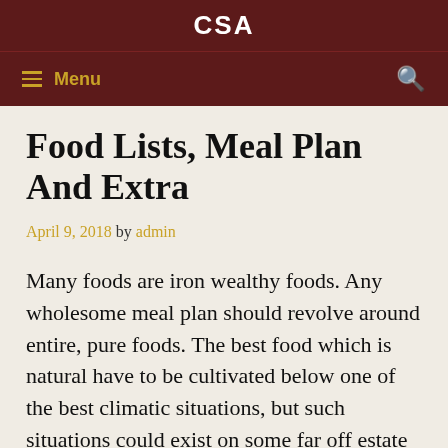CSA
≡ Menu  🔍
Food Lists, Meal Plan And Extra
April 9, 2018 by admin
Many foods are iron wealthy foods. Any wholesome meal plan should revolve around entire, pure foods. The best food which is natural have to be cultivated below one of the best climatic situations, but such situations could exist on some far off estate on the planet and importing food is usually costly.